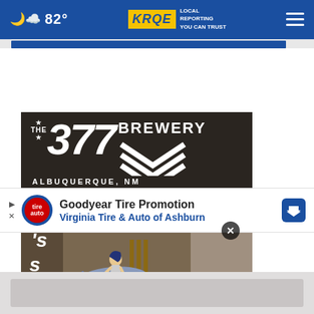82° KRQE LOCAL REPORTING YOU CAN TRUST
[Figure (screenshot): KRQE news website header bar with weather (82°), KRQE logo with tagline 'LOCAL REPORTING YOU CAN TRUST', and hamburger menu]
[Figure (photo): The 377 Brewery logo and interior photo. Top dark banner shows '★THE★ 377 BREWERY ALBUQUERQUE, NM' with chevron stripes. Bottom shows brewery interior with pin-up girl illustration on airplane marked '377' and brewing tanks in background.]
[Figure (infographic): Goodyear Tire Promotion advertisement banner: Goodyear/Tire Auto logo circle, text 'Goodyear Tire Promotion' and 'Virginia Tire & Auto of Ashburn', blue arrow button on right]